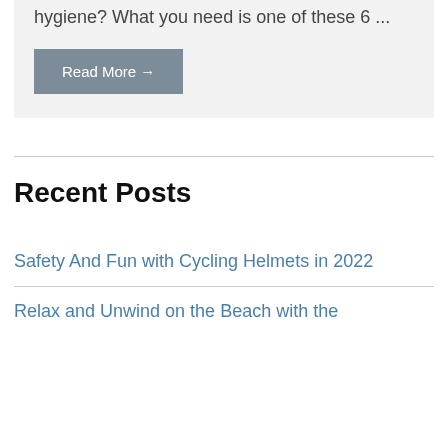hygiene? What you need is one of these 6 ...
Read More →
Recent Posts
Safety And Fun with Cycling Helmets in 2022
Relax and Unwind on the Beach with the